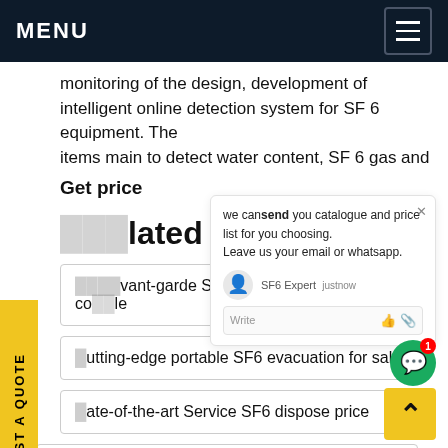MENU
monitoring of the design, development of intelligent online detection system for SF 6 equipment. The items main to detect water content, SF 6 gas and
Get price
Related Post
avant-garde SF6 humidity analyzer compatible
cutting-edge portable SF6 evacuation for sale
state-of-the-art Service SF6 dispose price
leading-edge SF6 dolly trolley price
we can send you catalogue and price list for you choosing. Leave us your email or whatsapp.